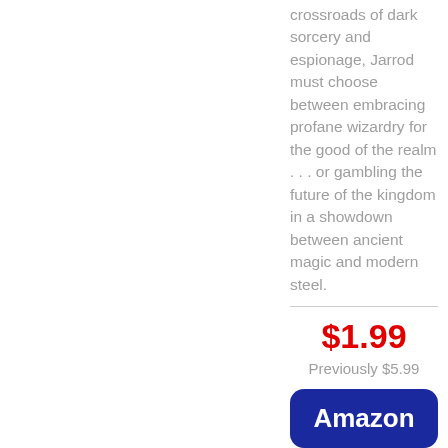crossroads of dark sorcery and espionage, Jarrod must choose between embracing profane wizardry for the good of the realm . . . or gambling the future of the kingdom in a showdown between ancient magic and modern steel.
$1.99
Previously $5.99
[Figure (other): Amazon button - dark blue rounded rectangle with white 'Amazon' text]